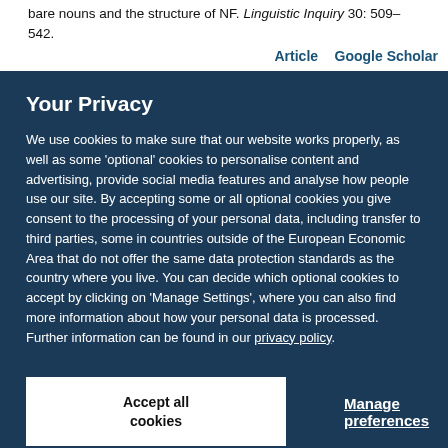bare nouns and the structure of NF. Linguistic Inquiry 30: 509–542.
Article    Google Scholar
Your Privacy
We use cookies to make sure that our website works properly, as well as some 'optional' cookies to personalise content and advertising, provide social media features and analyse how people use our site. By accepting some or all optional cookies you give consent to the processing of your personal data, including transfer to third parties, some in countries outside of the European Economic Area that do not offer the same data protection standards as the country where you live. You can decide which optional cookies to accept by clicking on 'Manage Settings', where you can also find more information about how your personal data is processed. Further information can be found in our privacy policy.
Accept all cookies
Manage preferences